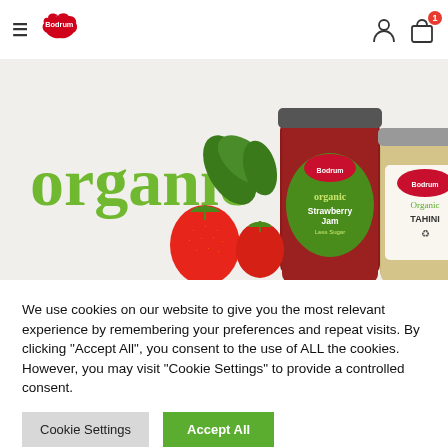Bodrum — navigation header with logo, hamburger menu, user icon, and shopping bag with badge 1
[Figure (photo): Bodrum Organic product banner showing strawberry jam jar, organic tahini jar, fresh strawberries, and the word 'organic' in green text on a light background]
We use cookies on our website to give you the most relevant experience by remembering your preferences and repeat visits. By clicking "Accept All", you consent to the use of ALL the cookies. However, you may visit "Cookie Settings" to provide a controlled consent.
Cookie Settings | Accept All